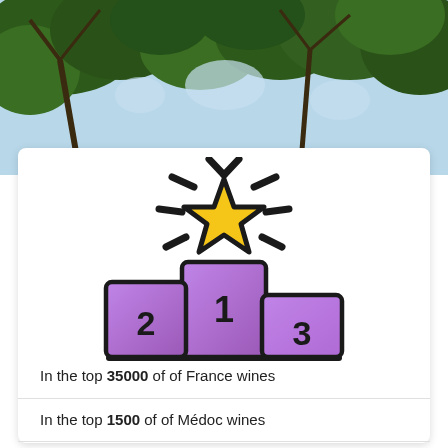[Figure (illustration): Photo background of tree branches against blue sky]
[Figure (illustration): Trophy podium icon with gold star on top and purple/violet podium blocks numbered 1, 2, 3]
In the top 35000 of of France wines
In the top 1500 of of Médoc wines
In the top 85000 of red wines